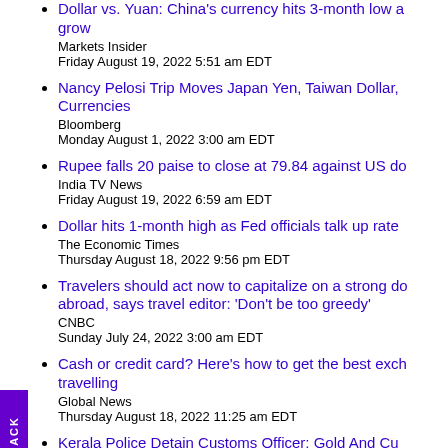Dollar vs. Yuan: China's currency hits 3-month low a... grow
Markets Insider
Friday August 19, 2022 5:51 am EDT
Nancy Pelosi Trip Moves Japan Yen, Taiwan Dollar,... Currencies
Bloomberg
Monday August 1, 2022 3:00 am EDT
Rupee falls 20 paise to close at 79.84 against US do...
India TV News
Friday August 19, 2022 6:59 am EDT
Dollar hits 1-month high as Fed officials talk up rate...
The Economic Times
Thursday August 18, 2022 9:56 pm EDT
Travelers should act now to capitalize on a strong do... abroad, says travel editor: 'Don't be too greedy'
CNBC
Sunday July 24, 2022 3:00 am EDT
Cash or credit card? Here's how to get the best exch... travelling
Global News
Thursday August 18, 2022 11:25 am EDT
Kerala Police Detain Customs Officer; Gold And Cu...
NDTV
Thursday August 18, 2022 2:16 pm EDT